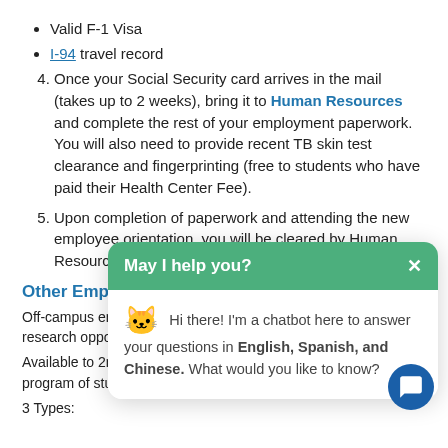Valid F-1 Visa
I-94 travel record
4. Once your Social Security card arrives in the mail (takes up to 2 weeks), bring it to Human Resources and complete the rest of your employment paperwork.  You will also need to provide recent TB skin test clearance and fingerprinting (free to students who have paid their Health Center Fee).
5. Upon completion of paperwork and attending the new employee orientation, you will be cleared by Human Resources and can begin working!
Other Employment Options (Off-campus):
Off-campus employment gives opportunities for work, internship, research opportunities located outside the college system.
Available to 2nd year students if relevant to your academic program of study.
3 Types:
[Figure (screenshot): Chatbot popup overlay with green header saying 'May I help you?' and body text: 'Hi there! I'm a chatbot here to answer your questions in English, Spanish, and Chinese. What would you like to know?']